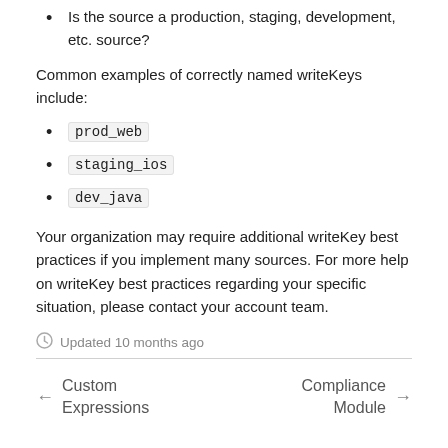Is the source a production, staging, development, etc. source?
Common examples of correctly named writeKeys include:
prod_web
staging_ios
dev_java
Your organization may require additional writeKey best practices if you implement many sources. For more help on writeKey best practices regarding your specific situation, please contact your account team.
Updated 10 months ago
← Custom Expressions    Compliance Module →